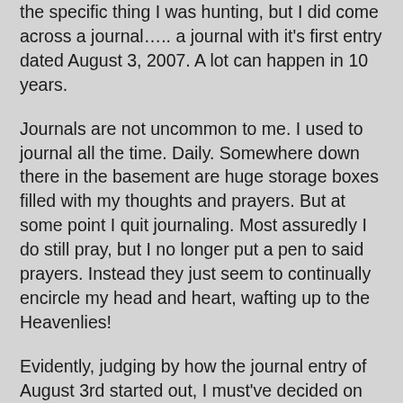the specific thing I was hunting, but I did come across a journal….. a journal with it's first entry dated August 3, 2007.  A lot can happen in 10 years.
Journals are not uncommon to me.  I used to journal all the time.  Daily.  Somewhere down there in the basement are huge storage boxes filled with my thoughts and prayers.  But at some point I quit journaling.  Most assuredly I do still pray, but I no longer put a pen to said prayers.  Instead they just seem to continually encircle my head and heart, wafting up to the Heavenlies!
Evidently, judging by how the journal entry of August 3rd started out, I must've decided on that particular day to pick back up my pen again.  Perhaps God had me pick it up that day, just so I could reflect back on it today! What follows is the written prayer of that day…. a reflection on prayer — which is kind of interesting to me… that would